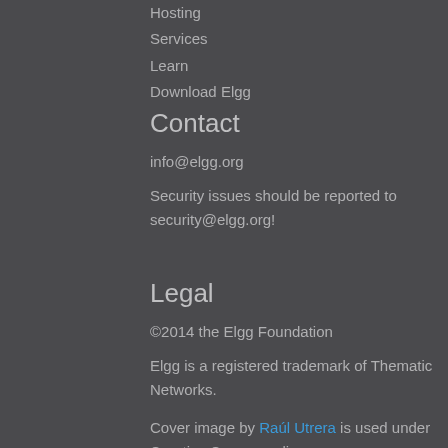Hosting
Services
Learn
Download Elgg
Contact
info@elgg.org
Security issues should be reported to security@elgg.org!
Legal
©2014 the Elgg Foundation
Elgg is a registered trademark of Thematic Networks.
Cover image by Raúl Utrera is used under Creative Commons license.